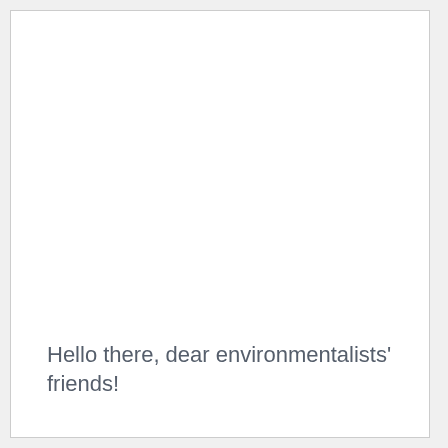Hello there, dear environmentalists' friends!